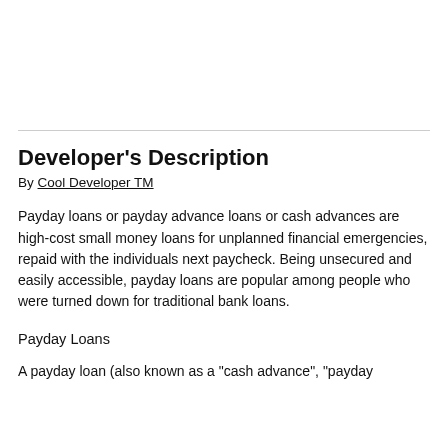Developer's Description
By Cool Developer TM
Payday loans or payday advance loans or cash advances are high-cost small money loans for unplanned financial emergencies, repaid with the individuals next paycheck. Being unsecured and easily accessible, payday loans are popular among people who were turned down for traditional bank loans.
Payday Loans
A payday loan (also known as a "cash advance", "payday